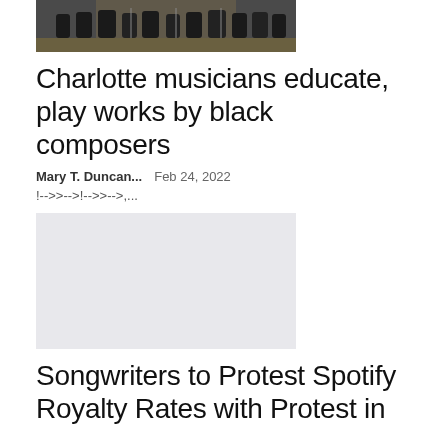[Figure (photo): Musicians performing on stage, viewed from a slight distance, dark clothing against a lit background]
Charlotte musicians educate, play works by black composers
Mary T. Duncan...   Feb 24, 2022
!-->>-->!-->>-->,...
[Figure (photo): Gray placeholder image for second article]
Songwriters to Protest Spotify Royalty Rates with Protest in